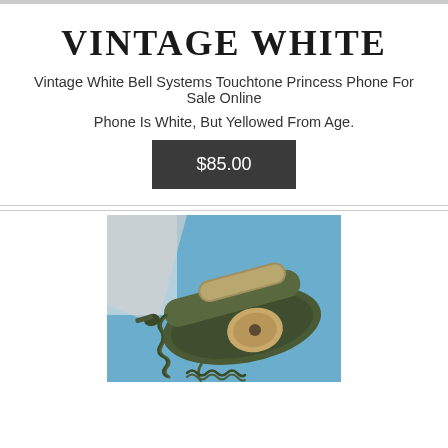VINTAGE WHITE
Vintage White Bell Systems Touchtone Princess Phone For Sale Online
Phone Is White, But Yellowed From Age.
$85.00
[Figure (photo): Photograph of a vintage olive/dark green Princess rotary telephone with handset off the base, coiled cord, and curly handset cord, displayed on a blue background.]